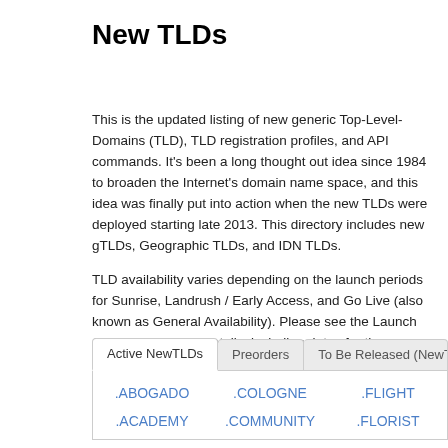New TLDs
This is the updated listing of new generic Top-Level-Domains (TLD), TLD registration profiles, and API commands. It's been a long thought out idea since 1984 to broaden the Internet's domain name space, and this idea was finally put into action when the new TLDs were deployed starting late 2013. This directory includes new gTLDs, Geographic TLDs, and IDN TLDs.
TLD availability varies depending on the launch periods for Sunrise, Landrush / Early Access, and Go Live (also known as General Availability). Please see the Launch Calendar for more details, including dates for the different launch phases.
Active NewTLDs | Preorders | To Be Released (NewTL...
.ABOGADO
.COLOGNE
.FLIGHT
.ACADEMY
.COMMUNITY
.FLORIST